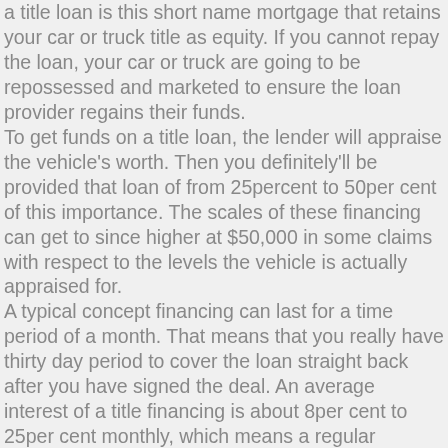a title loan is this short name mortgage that retains your car or truck title as equity. If you cannot repay the loan, your car or truck are going to be repossessed and marketed to ensure the loan provider regains their funds. To get funds on a title loan, the lender will appraise the vehicle's worth. Then you definitely'll be provided that loan of from 25percent to 50per cent of this importance. The scales of these financing can get to since higher at $50,000 in some claims with respect to the levels the vehicle is actually appraised for. A typical concept financing can last for a time period of a month. That means that you really have thirty day period to cover the loan straight back after you have signed the deal. An average interest of a title financing is about 8per cent to 25per cent monthly, which means a regular concept mortgage of being upwards APR of 300percent. While a name loan might seem like the answer for you to get hold of funds as it's needed, the risks is dangerous should you decide are not able to payback the money timely. More often than not, neglecting to pay the borrowed funds ensures that the car shall be repossessed because of the loan provider, who'll after that sell it to get their refund. Before taking around a title financing, thoroughly see whether you will manage to payback the financial institution. If you can't, you could end